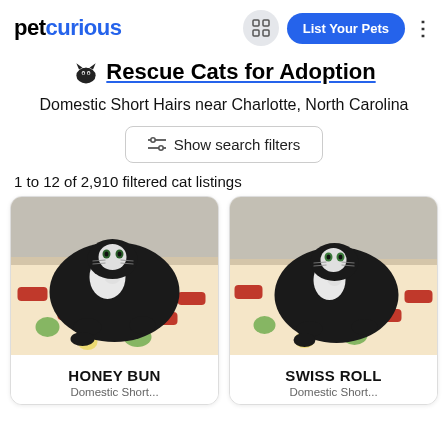petcurious | List Your Pets
🐱 Rescue Cats for Adoption
Domestic Short Hairs near Charlotte, North Carolina
Show search filters
1 to 12 of 2,910 filtered cat listings
[Figure (photo): Black and white cat lying on a colorful blanket with red car pattern, in what appears to be a shelter kennel]
HONEY BUN
Domestic Short...
[Figure (photo): Black and white cat lying on a colorful blanket with red car pattern, in what appears to be a shelter kennel]
SWISS ROLL
Domestic Short...